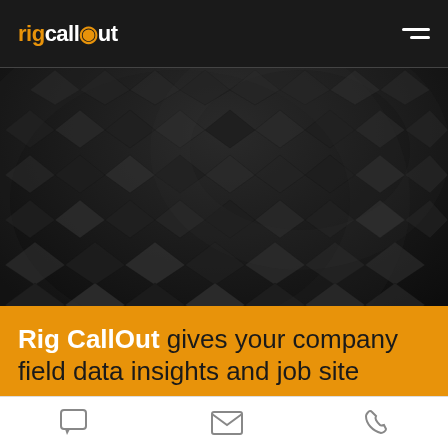rigcallout — navigation header with hamburger menu
[Figure (photo): Dark textured background with repeating 3D pyramid/spike pattern creating a swirling wave effect, photographed in black and dark grey tones]
Rig CallOut gives your company field data insights and job site
Footer icons: chat/comment icon, email/envelope icon, phone icon